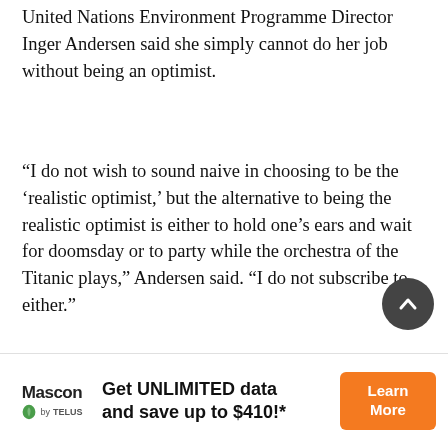United Nations Environment Programme Director Inger Andersen said she simply cannot do her job without being an optimist.
“I do not wish to sound naive in choosing to be the ‘realistic optimist,’ but the alternative to being the realistic optimist is either to hold one’s ears and wait for doomsday or to party while the orchestra of the Titanic plays,” Andersen said. “I do not subscribe to either.”
Dr. Kristina Goff works in the intensive care unit at University of Texas Southwestern Medical Center and said at times she felt overwhelmed during the pandemic. She keeps a file folder at home of “little notes that say ‘hey you made a difference.’”
[Figure (other): Scroll to top button - dark circular button with upward chevron arrow]
[Figure (other): Advertisement banner: Mascon by TELUS logo on left, text 'Get UNLIMITED data and save up to $410!*' in center, orange 'Learn More' button on right]